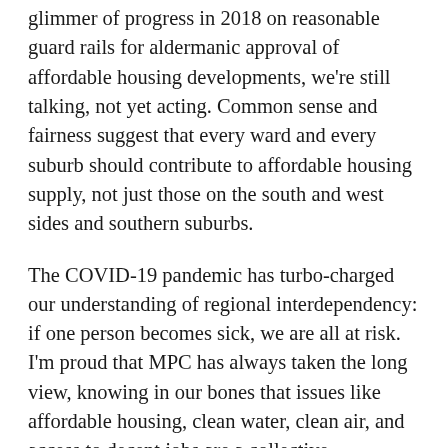glimmer of progress in 2018 on reasonable guard rails for aldermanic approval of affordable housing developments, we're still talking, not yet acting. Common sense and fairness suggest that every ward and every suburb should contribute to affordable housing supply, not just those on the south and west sides and southern suburbs.
The COVID-19 pandemic has turbo-charged our understanding of regional interdependency: if one person becomes sick, we are all at risk. I'm proud that MPC has always taken the long view, knowing in our bones that issues like affordable housing, clean water, clean air, and access to decent jobs are a collective responsibility and take time to deliver shared benefits. I'll bring that with me.
I'm sorting through my mix of emotions as I bid farewell to work that I've loved. As a parent of two